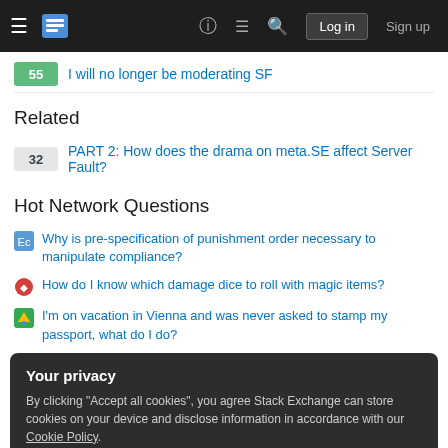Stack Exchange navigation bar with Log in and Sign up buttons
55 — I will no longer be moderating SF
Related
32 — PART 2: How does the drama on meta.SE affect Server Fault?
Hot Network Questions
Why is pre-specification of punishment order necessary to manipulate compliance?
How do I know which damage dice to roll with magic items?
I'm on vacation in Vienna and was never asked to stamp my passport, what do I do?
Your privacy
By clicking "Accept all cookies", you agree Stack Exchange can store cookies on your device and disclose information in accordance with our Cookie Policy.
Accept all cookies | Customize settings